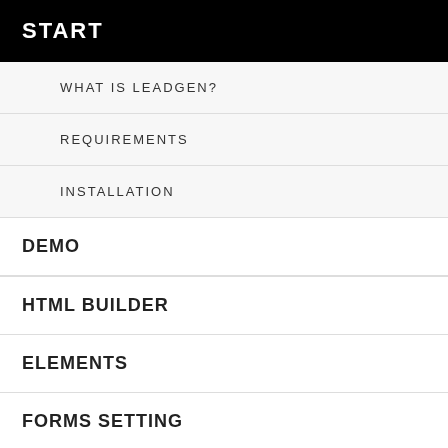START
WHAT IS LEADGEN?
REQUIREMENTS
INSTALLATION
DEMO
HTML BUILDER
ELEMENTS
FORMS SETTING
CREDITS
counter styles to display date or statistics
11. 11 visually seamless team member listing block styles
12.